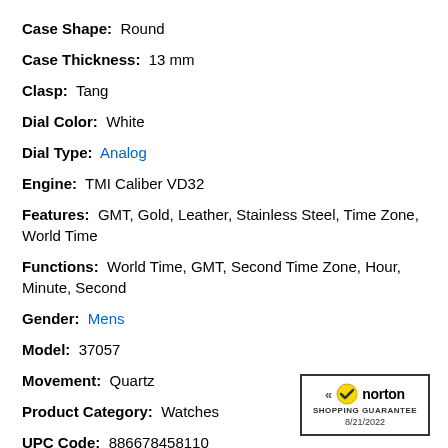Case Shape: Round
Case Thickness: 13 mm
Clasp: Tang
Dial Color: White
Dial Type: Analog
Engine: TMI Caliber VD32
Features: GMT, Gold, Leather, Stainless Steel, Time Zone, World Time
Functions: World Time, GMT, Second Time Zone, Hour, Minute, Second
Gender: Mens
Model: 37057
Movement: Quartz
Product Category: Watches
UPC Code: 886678458110
Watch Style: Casual Watches
[Figure (logo): Norton Shopping Guarantee badge with checkmark, dated 8/21/2022]